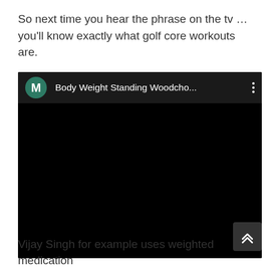So next time you hear the phrase on the tv … you'll know exactly what golf core workouts are.
[Figure (screenshot): Embedded video player (black background) with header showing a green avatar with letter M, video title 'Body Weight Standing Woodcho...' and a three-dot menu icon. The video area is entirely black.]
Vijay Singh for example uses weighted medication